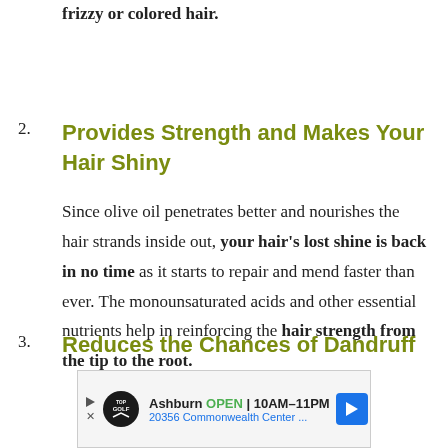frizzy or colored hair.
2. Provides Strength and Makes Your Hair Shiny

Since olive oil penetrates better and nourishes the hair strands inside out, your hair's lost shine is back in no time as it starts to repair and mend faster than ever. The monounsaturated acids and other essential nutrients help in reinforcing the hair strength from the tip to the root.
3. Reduces the Chances of Dandruff
[Figure (other): Advertisement banner for TopGolf Ashburn: OPEN 10AM-11PM, 20356 Commonwealth Center... with navigation arrow icon]